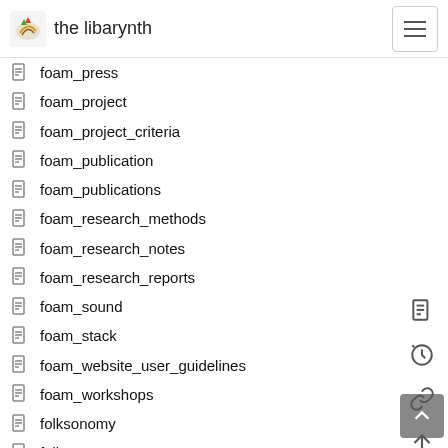the libarynth
foam_press
foam_project
foam_project_criteria
foam_publication
foam_publications
foam_research_methods
foam_research_notes
foam_research_reports
foam_sound
foam_stack
foam_website_user_guidelines
foam_workshops
folksonomy
folk_art
font_conversion
foodpairing_notes
food_data
food_pairing
food_photography